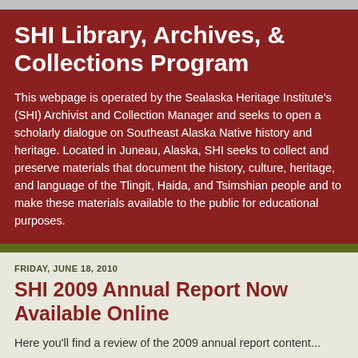SHI Library, Archives, & Collections Program
This webpage is operated by the Sealaska Heritage Institute's (SHI) Archivist and Collection Manager and seeks to open a scholarly dialogue on Southeast Alaska Native history and heritage. Located in Juneau, Alaska, SHI seeks to collect and preserve materials that document the history, culture, heritage, and language of the Tlingit, Haida, and Tsimshian people and to make these materials available to the public for educational purposes.
FRIDAY, JUNE 18, 2010
SHI 2009 Annual Report Now Available Online
Here you'll find a review of the 2009 annual report...